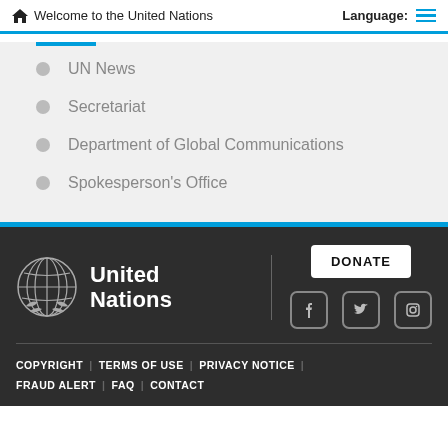Welcome to the United Nations | Language:
UN News
Secretariat
Department of Global Communications
Spokesperson's Office
[Figure (logo): United Nations logo with globe emblem and text 'United Nations']
COPYRIGHT | TERMS OF USE | PRIVACY NOTICE | FRAUD ALERT | FAQ | CONTACT